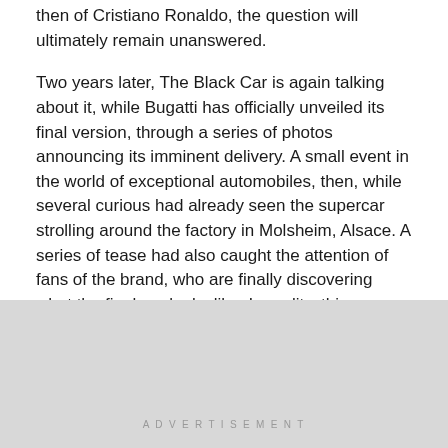then of Cristiano Ronaldo, the question will ultimately remain unanswered.
Two years later, The Black Car is again talking about it, while Bugatti has officially unveiled its final version, through a series of photos announcing its imminent delivery. A small event in the world of exceptional automobiles, then, while several curious had already seen the supercar strolling around the factory in Molsheim, Alsace. A series of tease had also caught the attention of fans of the brand, who are finally discovering what the final car looks like. In reality, this one does not change the concept in terms of style, but we often think that the latter was in fact a simple empty shell, devoid of interior and
ADVERTISEMENT